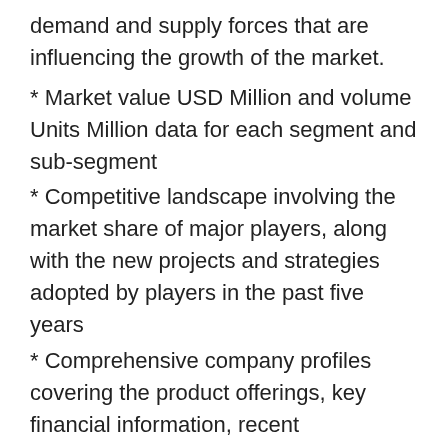demand and supply forces that are influencing the growth of the market.
* Market value USD Million and volume Units Million data for each segment and sub-segment
* Competitive landscape involving the market share of major players, along with the new projects and strategies adopted by players in the past five years
* Comprehensive company profiles covering the product offerings, key financial information, recent developments, SWOT analysis, and strategies employed by the major market players
* 1-year analyst support, along with the data support in excel format.
We also can offer a customized reports to fulfill the